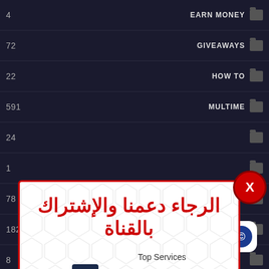4 — EARN MONEY
72 — GIVEAWAYS
22 — HOW TO
591 — MULTIME
24
1
78
182
8
1
152 — SECU
31 — SLIDESHOW
[Figure (screenshot): Popup overlay with Arabic text asking to support and subscribe to the channel. Shows Top Services YouTube channel with 11K subscribers. Red border popup with hexagon pattern background. Red X close button. Text: الرجاء دعمنا والإشتراك بالقناة, إضغط على إشتراك لإغلاق النافذة]